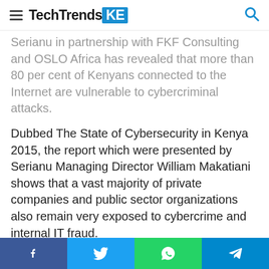TechTrendsKE
Serianu in partnership with FKF Consulting and OSLO Africa has revealed that more than 80 per cent of Kenyans connected to the Internet are vulnerable to cybercriminal attacks.
Dubbed The State of Cybersecurity in Kenya 2015, the report which were presented by Serianu Managing Director William Makatiani shows that a vast majority of private companies and public sector organizations also remain very exposed to cybercrime and internal IT fraud.
“Our study revealed that 70% of Kenyan businesses